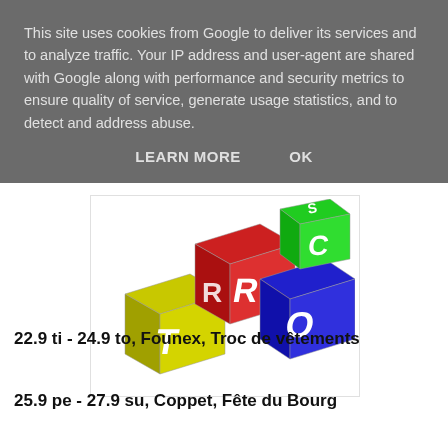This site uses cookies from Google to deliver its services and to analyze traffic. Your IP address and user-agent are shared with Google along with performance and security metrics to ensure quality of service, generate usage statistics, and to detect and address abuse.
LEARN MORE    OK
[Figure (illustration): 3D toy building blocks with letters. Yellow block with letter T, red blocks with letters R, blue block with letter O, green block with letter C.]
22.9 ti - 24.9 to, Founex, Troc de vêtements
25.9 pe - 27.9 su, Coppet, Fête du Bourg